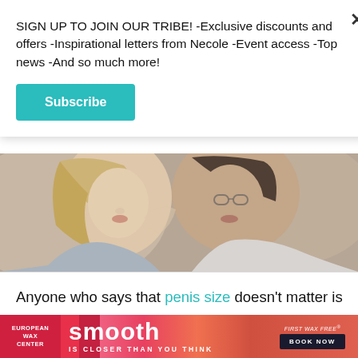SIGN UP TO JOIN OUR TRIBE! -Exclusive discounts and offers -Inspirational letters from Necole -Event access -Top news -And so much more!
Subscribe
[Figure (photo): Close-up photo of a couple about to kiss, woman with blonde hair on left, man on right]
Anyone who says that penis size doesn't matter is lying. If you've got a penis, or you have sex with a penis, you know that certain sizes and shapes feel
[Figure (other): European Wax Center advertisement banner with 'smooth IS CLOSER THAN YOU THINK' and 'FIRST WAX FREE BOOK NOW']